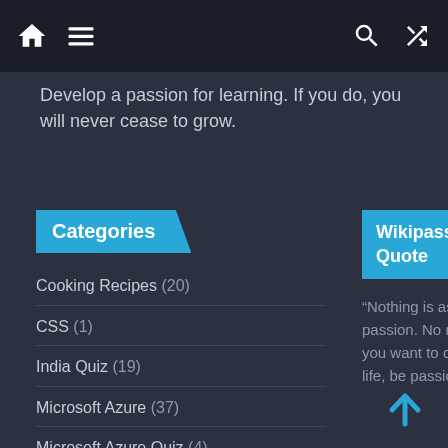Navigation bar with home, menu, search, and shuffle icons
Develop a passion for learning. If you do, you will never cease to grow.
Categories
Cooking Recipes (20)
CSS (1)
India Quiz (19)
Microsoft Azure (37)
Microsoft Azure Quiz (4)
My Quotes (8)
Quotes (1)
Wikipassion Quote
“Nothing is as important as passion. No matter what you want to do with your life, be passionate.”